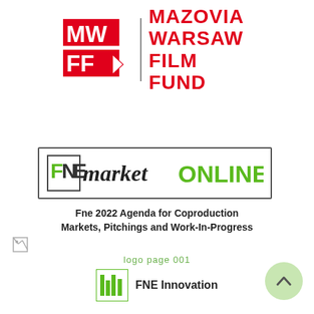[Figure (logo): MWFF (Mazovia Warsaw Film Fund) logo — red block letters MW on top row, FF with red play button icon below, beside vertical divider and red bold text MAZOVIA WARSAW FILM FUND]
[Figure (logo): FNEmarketONLINE banner logo inside a rectangular border — stylized FNE letters in green/dark, handwritten-style 'market', bold green ONLINE text]
Fne 2022 Agenda for Coproduction Markets, Pitchings and Work-In-Progress
[Figure (logo): Small broken image icon placeholder at bottom left]
logo page 001
[Figure (logo): FNE Innovation logo — green stylized FNE lettermark beside bold text FNE Innovation]
[Figure (other): Light green circle button with upward chevron arrow at bottom right]